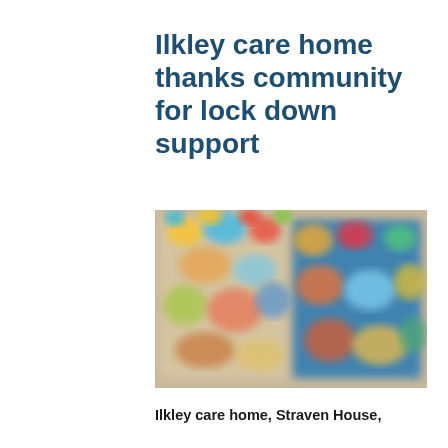Ilkley care home thanks community for lock down support
[Figure (photo): Blurred photograph showing two display boards with colourful artwork, cards, drawings and crafts pinned to them, set against a cream/beige wall background. The boards appear to be covered with children's artwork and community messages.]
Ilkley care home, Straven House,